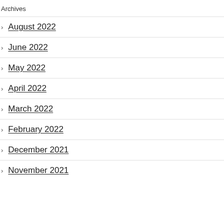Archives
August 2022
June 2022
May 2022
April 2022
March 2022
February 2022
December 2021
November 2021